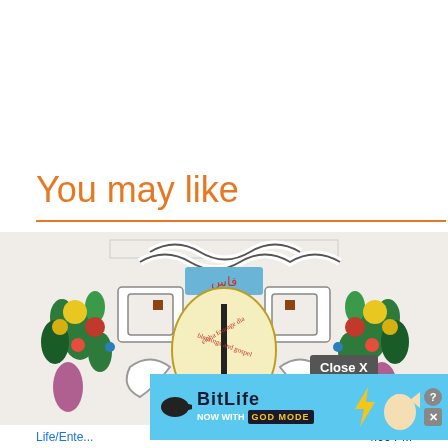You may like
[Figure (illustration): Colorful Islamic geometric and floral decorative illustration with interlaced knot patterns in white, green, red, yellow, and blue, featuring Arabic script in the center on a blue background, and floral motifs around the edges.]
[Figure (screenshot): BitLife mobile game advertisement overlay with light blue background showing BitLife logo, 'NOW WITH GOD MODE' text, lightning bolt graphic, and a hand pointing illustration. A 'Close X' button appears in grey on the right side. Help (?) and X icons appear in the top right of the ad.]
Life/Ente...   4:06 PM